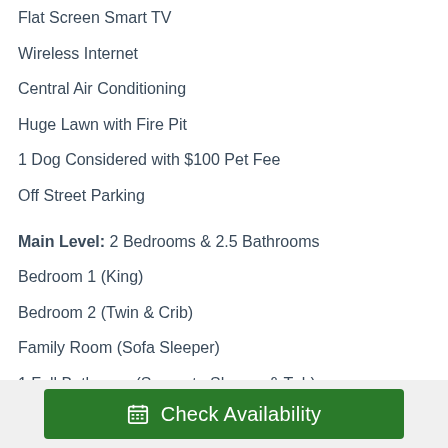Flat Screen Smart TV
Wireless Internet
Central Air Conditioning
Huge Lawn with Fire Pit
1 Dog Considered with $100 Pet Fee
Off Street Parking
Main Level: 2 Bedrooms & 2.5 Bathrooms
Bedroom 1 (King)
Bedroom 2 (Twin & Crib)
Family Room (Sofa Sleeper)
1 Full Bathroom (Separate Shower & Tub)
1 Half Bathroom
Check Availability